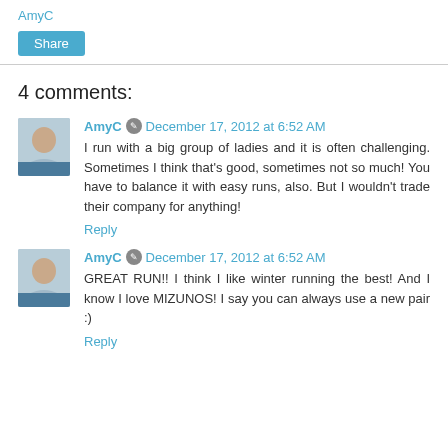AmyC
Share
4 comments:
AmyC  December 17, 2012 at 6:52 AM
I run with a big group of ladies and it is often challenging. Sometimes I think that's good, sometimes not so much! You have to balance it with easy runs, also. But I wouldn't trade their company for anything!
Reply
AmyC  December 17, 2012 at 6:52 AM
GREAT RUN!! I think I like winter running the best! And I know I love MIZUNOS! I say you can always use a new pair :)
Reply